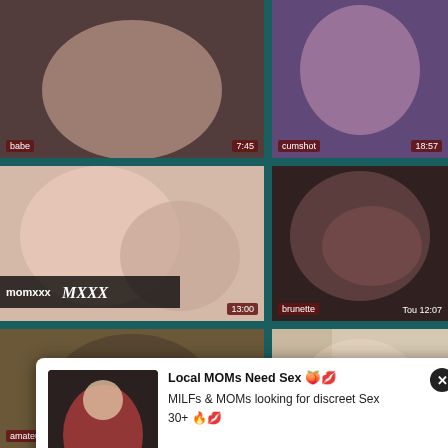[Figure (screenshot): Video thumbnail grid showing adult content website with 6 video thumbnails arranged in a 2-column grid. Labels and durations overlay on thumbnails: babe/7:45, cumshot/18:57, momxxx MXXX/13:00, brunette/Tou 12:07, amateur/17:38, tits/Teens 8:44. A popup overlay shows: Local MOMs Need Sex with emoji, MILFs & MOMs looking for discreet Sex, 30+ with emoji, with a close button.]